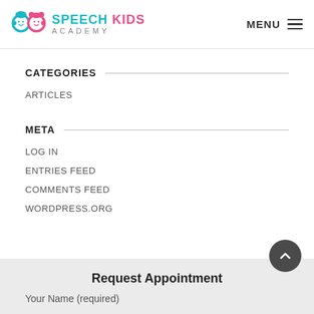Speech Kids Academy — MENU
CATEGORIES
ARTICLES
META
LOG IN
ENTRIES FEED
COMMENTS FEED
WORDPRESS.ORG
Request Appointment
Your Name (required)